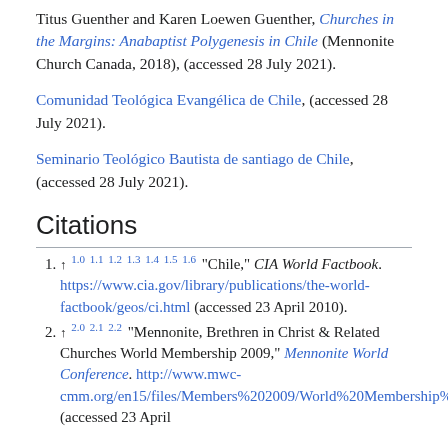Titus Guenther and Karen Loewen Guenther, Churches in the Margins: Anabaptist Polygenesis in Chile (Mennonite Church Canada, 2018), (accessed 28 July 2021).
Comunidad Teológica Evangélica de Chile, (accessed 28 July 2021).
Seminario Teológico Bautista de santiago de Chile, (accessed 28 July 2021).
Citations
↑ 1.0 1.1 1.2 1.3 1.4 1.5 1.6 "Chile," CIA World Factbook. https://www.cia.gov/library/publications/the-world-factbook/geos/ci.html (accessed 23 April 2010).
↑ 2.0 2.1 2.2 "Mennonite, Brethren in Christ & Related Churches World Membership 2009," Mennonite World Conference. http://www.mwc-cmm.org/en15/files/Members%202009/World%20Membership%20summary.doc (accessed 23 April